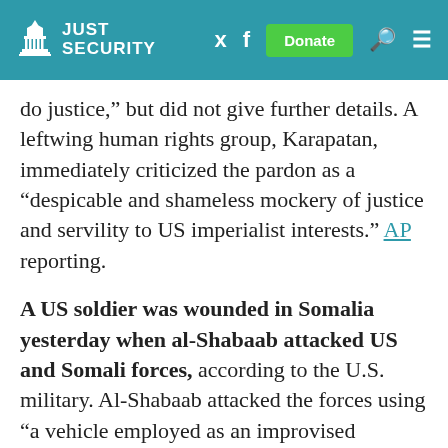JUST SECURITY
do justice,” but did not give further details. A leftwing human rights group, Karapatan, immediately criticized the pardon as a “despicable and shameless mockery of justice and servility to US imperialist interests.” AP reporting.
A US soldier was wounded in Somalia yesterday when al-Shabaab attacked US and Somali forces, according to the U.S. military. Al-Shabaab attacked the forces using “a vehicle employed as an improvised explosive device and mortar fire,” US Africa Command said in a statement. The wounded service member is in